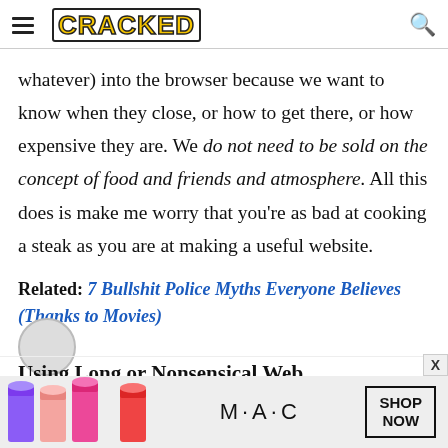CRACKED
whatever) into the browser because we want to know when they close, or how to get there, or how expensive they are. We do not need to be sold on the concept of food and friends and atmosphere. All this does is make me worry that you're as bad at cooking a steak as you are at making a useful website.
Related: 7 Bullshit Police Myths Everyone Believes (Thanks to Movies)
Using Long or Nonsensical Web
[Figure (advertisement): MAC cosmetics ad banner with lipsticks and SHOP NOW box]